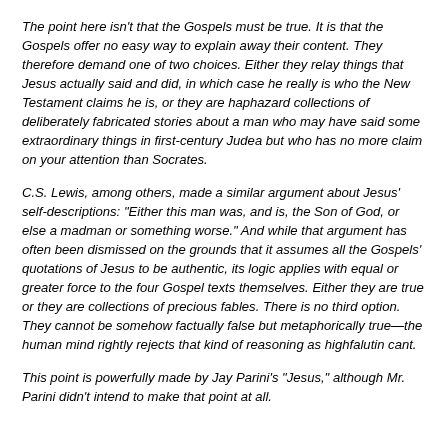The point here isn't that the Gospels must be true. It is that the Gospels offer no easy way to explain away their content. They therefore demand one of two choices. Either they relay things that Jesus actually said and did, in which case he really is who the New Testament claims he is, or they are haphazard collections of deliberately fabricated stories about a man who may have said some extraordinary things in first-century Judea but who has no more claim on your attention than Socrates.
C.S. Lewis, among others, made a similar argument about Jesus' self-descriptions: "Either this man was, and is, the Son of God, or else a madman or something worse." And while that argument has often been dismissed on the grounds that it assumes all the Gospels' quotations of Jesus to be authentic, its logic applies with equal or greater force to the four Gospel texts themselves. Either they are true or they are collections of precious fables. There is no third option. They cannot be somehow factually false but metaphorically true—the human mind rightly rejects that kind of reasoning as highfalutin cant.
This point is powerfully made by Jay Parini's "Jesus," although Mr. Parini didn't intend to make that point at all.